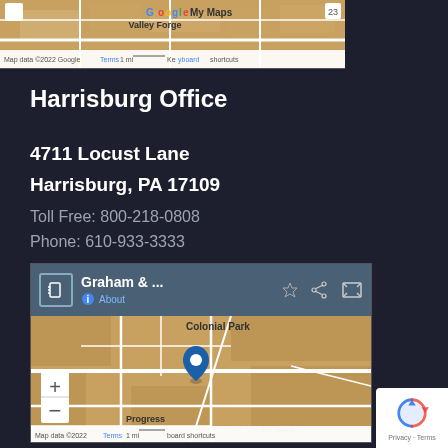[Figure (map): Google My Maps showing Valley Forge area with map data ©2022 Google, Terms, 1 mi scale, Keyboard shortcuts]
Harrisburg Office
4711 Locust Lane
Harrisburg, PA 17109
Toll Free: 800-218-0808
Phone: 610-933-3333
[Figure (map): Google My Maps showing Graham & ... office location in Colonial Park / Harrisburg PA area with zoom controls, location pin, Progress and Penbrook labels, map data ©2022 Google Terms 1 mi keyboard shortcuts]